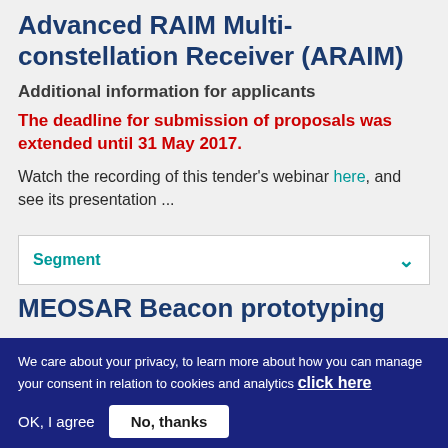Advanced RAIM Multi-constellation Receiver (ARAIM)
Additional information for applicants
The deadline for submission of proposals was extended until 31 May 2017.
Watch the recording of this tender's webinar here, and see its presentation ...
Segment
MEOSAR Beacon prototyping
We care about your privacy, to learn more about how you can manage your consent in relation to cookies and analytics click here
OK, I agree
No, thanks